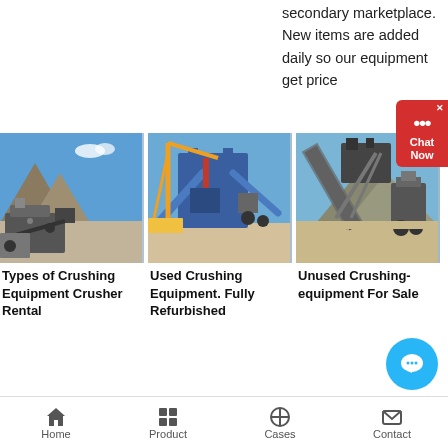secondary marketplace. New items are added daily so our equipment get price
[Figure (photo): Crushing equipment machinery at a quarry site with mountains in background, blue sky]
[Figure (photo): Used crushing equipment with cranes and blue machinery at a construction/mining site]
[Figure (photo): Unused crushing equipment conveyor and processing machinery at a mining site]
Types of Crushing Equipment Crusher Rental
Used Crushing Equipment. Fully Refurbished
Unused Crushing-equipment For Sale
Home   Product   Cases   Contact